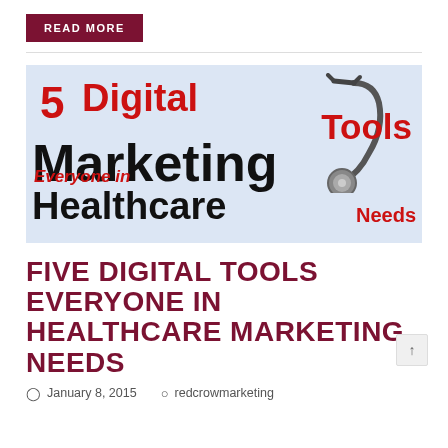READ MORE
[Figure (illustration): Promotional graphic showing a stethoscope over white background with text '5 Digital Marketing Tools Everyone in Healthcare Needs' in bold red and black typography]
FIVE DIGITAL TOOLS EVERYONE IN HEALTHCARE MARKETING NEEDS
January 8, 2015   redcrowmarketing